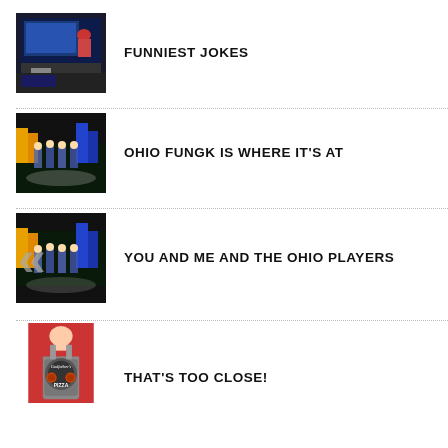[Figure (screenshot): TV studio screenshot thumbnail for Funniest Jokes]
FUNNIEST JOKES
[Figure (screenshot): Band performance thumbnail for Ohio Fungk Is Where It's At]
OHIO FUNGK IS WHERE IT'S AT
[Figure (screenshot): Band performance thumbnail for You And Me And The Ohio Players]
YOU AND ME AND THE OHIO PLAYERS
[Figure (photo): Person wearing Godfather's Pizza apron thumbnail for That's Too Close!]
THAT'S TOO CLOSE!